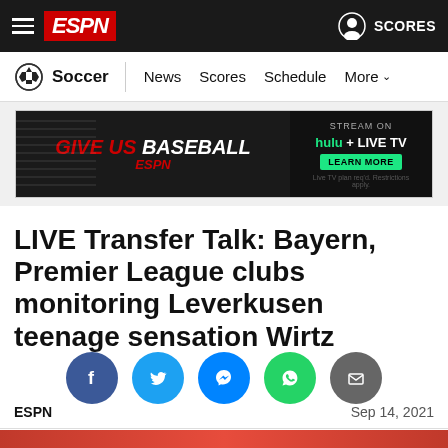ESPN — Soccer — News Scores Schedule More | SCORES
[Figure (screenshot): ESPN website advertisement banner: GIVE US BASEBALL with Hulu + Live TV Stream On and Learn More button]
LIVE Transfer Talk: Bayern, Premier League clubs monitoring Leverkusen teenage sensation Wirtz
[Figure (infographic): Social sharing icons: Facebook, Twitter, Messenger, WhatsApp, Email]
ESPN    Sep 14, 2021
[Figure (photo): Partial photo of athlete at bottom of page]